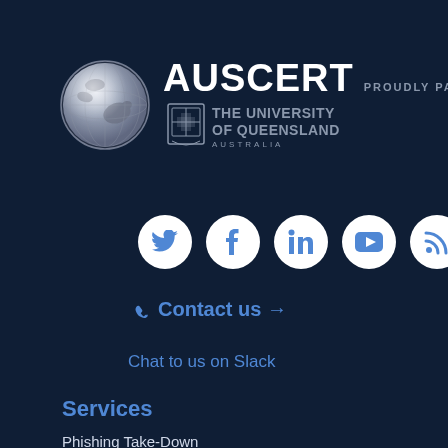[Figure (logo): AusCERT logo with globe icon and University of Queensland affiliation text]
[Figure (infographic): Row of 5 social media icon circles: Twitter, Facebook, LinkedIn, YouTube, RSS feed]
Contact us →
Chat to us on Slack
Services
Phishing Take-Down